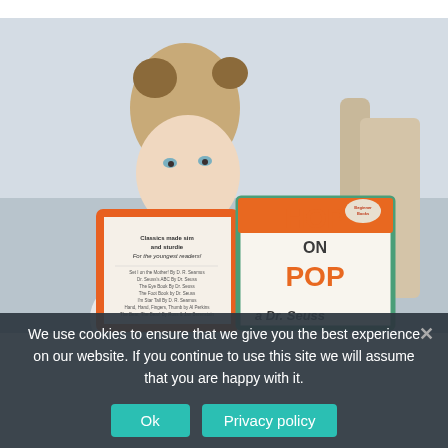[Figure (photo): A young blonde girl with pigtails holding up two children's books: a Beginner Books reader and 'Hop on Pop' by Dr. Seuss, obscuring the lower half of her face. She is seated at a table in what appears to be a home or classroom setting.]
We use cookies to ensure that we give you the best experience on our website. If you continue to use this site we will assume that you are happy with it.
Ok
Privacy policy